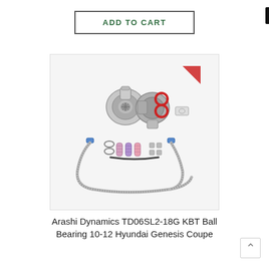ADD TO CART
[Figure (photo): Arashi Dynamics TD06SL2-18G KBT Ball Bearing turbocharger kit with braided oil lines, springs, hardware, and gaskets on white background]
Arashi Dynamics TD06SL2-18G KBT Ball Bearing 10-12 Hyundai Genesis Coupe